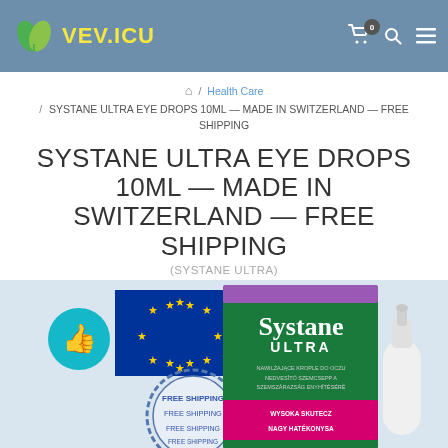VEV.ICU
/ Health Care / SYSTANE ULTRA EYE DROPS 10ML — MADE IN SWITZERLAND — FREE SHIPPING
SYSTANE ULTRA EYE DROPS 10ML — MADE IN SWITZERLAND — FREE SHIPPING
(SYSTANE ULTRA)
[Figure (photo): Product photo showing Systane Ultra Eye Drops 10ml box with EU flag, thumbs up icon, and Free Shipping stamp]